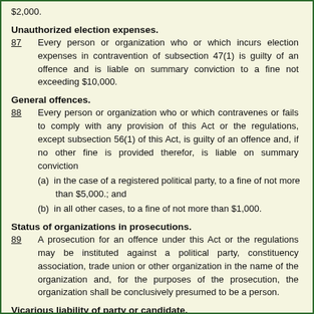$2,000.
Unauthorized election expenses.
87	Every person or organization who or which incurs election expenses in contravention of subsection 47(1) is guilty of an offence and is liable on summary conviction to a fine not exceeding $10,000.
General offences.
88	Every person or organization who or which contravenes or fails to comply with any provision of this Act or the regulations, except subsection 56(1) of this Act, is guilty of an offence and, if no other fine is provided therefor, is liable on summary conviction
(a) in the case of a registered political party, to a fine of not more than $5,000.; and
(b) in all other cases, to a fine of not more than $1,000.
Status of organizations in prosecutions.
89	A prosecution for an offence under this Act or the regulations may be instituted against a political party, constituency association, trade union or other organization in the name of the organization and, for the purposes of the prosecution, the organization shall be conclusively presumed to be a person.
Vicarious liability of party or candidate.
90(1)	Where the chief financial officer or any deputy of the chief financial officer of a political party or candidate is guilty of an offence